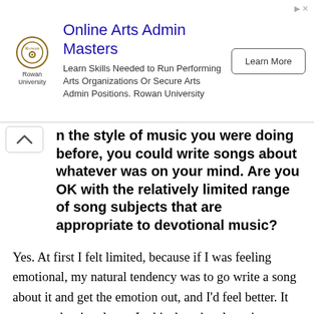[Figure (other): Advertisement banner for Rowan University Online Arts Admin Masters program with logo, description text, and Learn More button]
n the style of music you were doing before, you could write songs about whatever was on your mind. Are you OK with the relatively limited range of song subjects that are appropriate to devotional music?
Yes. At first I felt limited, because if I was feeling emotional, my natural tendency was to go write a song about it and get the emotion out, and I’d feel better. It was a cathartic release. In this devotional music genre, the essence of the music is to turn the emotion to devotion. While you may hear some emotive qualities in my voice when singing mantra, the essence of it is to lift up beyond it—to leave feeling uplifted and not get stuck in the emotion. There are beautiful, sad songs in more secular music that I listen to, and it’s what I need at that